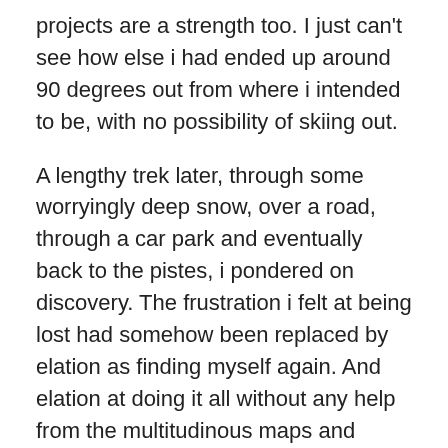projects are a strength too. I just can't see how else i had ended up around 90 degrees out from where i intended to be, with no possibility of skiing out.
A lengthy trek later, through some worryingly deep snow, over a road, through a car park and eventually back to the pistes, i pondered on discovery. The frustration i felt at being lost had somehow been replaced by elation as finding myself again. And elation at doing it all without any help from the multitudinous maps and devices. No pain, no gain, as they say and, in this case, there was an element of truth.
The thing about discovery is that you have to really do it for yourself. It's all very well me telling you how something works, but it's as nothing compared to the delight at figuring something out for yourself. Just think how